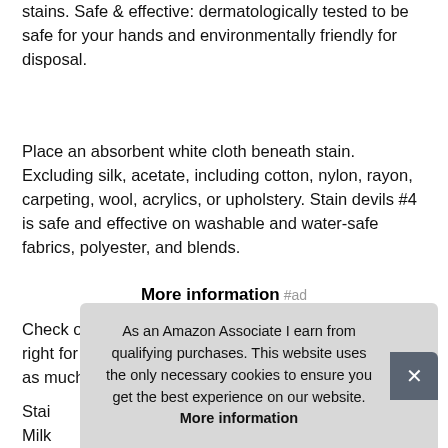stains. Safe & effective: dermatologically tested to be safe for your hands and environmentally friendly for disposal.
Place an absorbent white cloth beneath stain. Excluding silk, acetate, including cotton, nylon, rayon, carpeting, wool, acrylics, or upholstery. Stain devils #4 is safe and effective on washable and water-safe fabrics, polyester, and blends.
More information #ad
Check out all 9 stain devils and choose the one that's right for your stain! Directions: before treating, remove as much of the cause of the stain as possible.
Stai
Milk
they
Carl
As an Amazon Associate I earn from qualifying purchases. This website uses the only necessary cookies to ensure you get the best experience on our website. More information